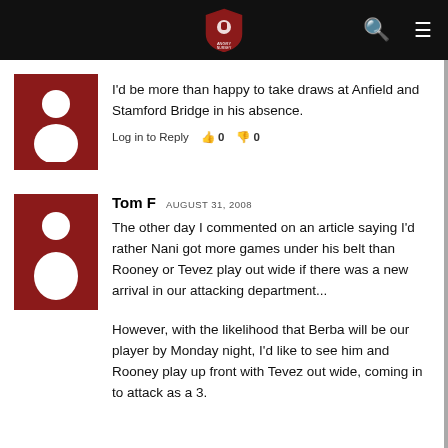Angry Nursey website header with logo, search and menu icons
I'd be more than happy to take draws at Anfield and Stamford Bridge in his absence.
Log in to Reply  👍 0  👎 0
Tom F  AUGUST 31, 2008
The other day I commented on an article saying I'd rather Nani got more games under his belt than Rooney or Tevez play out wide if there was a new arrival in our attacking department...
However, with the likelihood that Berba will be our player by Monday night, I'd like to see him and Rooney play up front with Tevez out wide, coming in to attack as a 3.